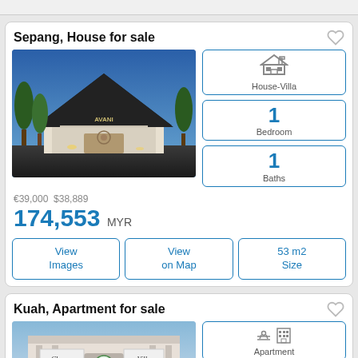Sepang, House for sale
[Figure (photo): Exterior photo of a modern building (AVANI hotel/resort) with triangular roof, palm trees, blue sky, lit at dusk]
[Figure (infographic): House-Villa badge icon]
House-Villa
1 Bedroom
1 Baths
€39,000  $38,889
174,553 MYR
View Images
View on Map
53 m2 Size
Kuah, Apartment for sale
[Figure (photo): Exterior photo of Chogm Villa apartment building with signage and logo]
Apartment